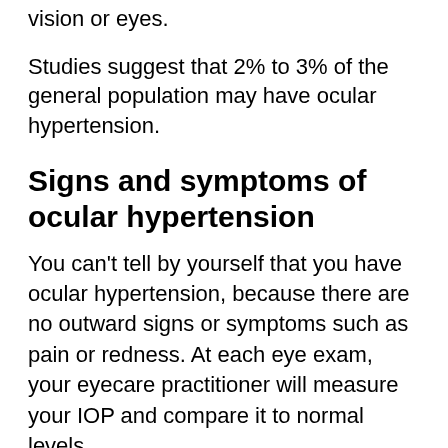vision or eyes.
Studies suggest that 2% to 3% of the general population may have ocular hypertension.
Signs and symptoms of ocular hypertension
You can't tell by yourself that you have ocular hypertension, because there are no outward signs or symptoms such as pain or redness. At each eye exam, your eyecare practitioner will measure your IOP and compare it to normal levels.
During routine eye exams, a tonometer is used to measure your IOP. Your eye typically is numbed with eye drops, and a small probe gently rests against your eye's surface. Other tonometers direct a puff of air onto your eye's surface to indirectly measure IOP.